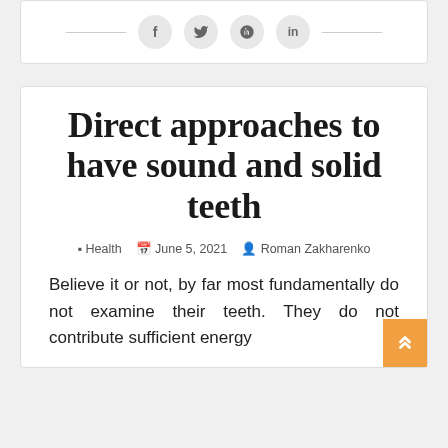[Figure (other): Social sharing icons bar with Facebook, Twitter, Pinterest, LinkedIn icons and separator lines on each side]
Direct approaches to have sound and solid teeth
Health  June 5, 2021  Roman Zakharenko
Believe it or not, by far most fundamentally do not examine their teeth. They do not contribute sufficient energy